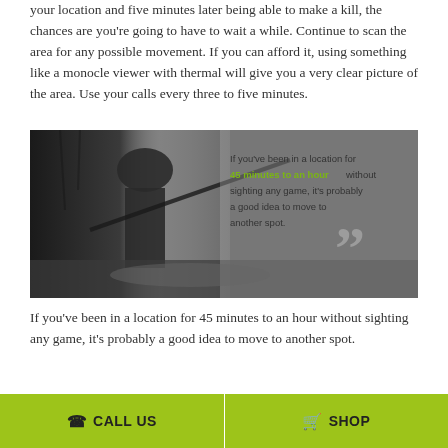your location and five minutes later being able to make a kill, the chances are you're going to have to wait a while. Continue to scan the area for any possible movement. If you can afford it, using something like a monocle viewer with thermal will give you a very clear picture of the area. Use your calls every three to five minutes.
[Figure (photo): Black and white photo of a hunter holding a rifle in a marshy/wooded area, overlaid with a quote box reading: 'If you've been in a location for 45 minutes to an hour without sighting any game, it's probably a good idea to move to another spot.' with '45 minutes to an hour' highlighted in green, and large quotation marks watermark on the right side.]
If you've been in a location for 45 minutes to an hour without sighting any game, it's probably a good idea to move to another spot.
7. Think Ahead and Be Safe
CALL US   SHOP